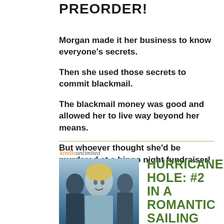PREORDER!
Morgan made it her business to know everyone's secrets.
Then she used those secrets to commit blackmail.
The blackmail money was good and allowed her to live way beyond her means.
But whoever thought she'd be murdered at a bingo night fundraiser!
[Figure (illustration): Book cover showing three figures in blue tones, a woman with blonde hair in center flanked by two darker figures, for Hurricane Hole romance novel]
HURRICANE HOLE: #2 IN A ROMANTIC SAILING